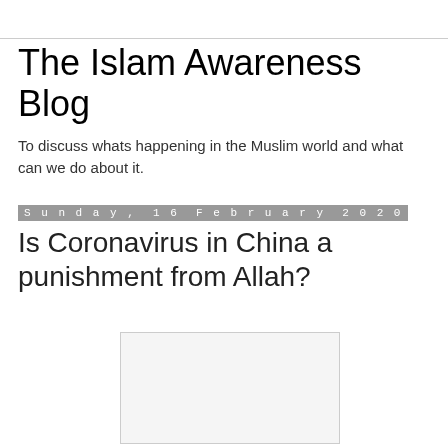The Islam Awareness Blog
To discuss whats happening in the Muslim world and what can we do about it.
Sunday, 16 February 2020
Is Coronavirus in China a punishment from Allah?
[Figure (other): White/light grey rectangle image placeholder]